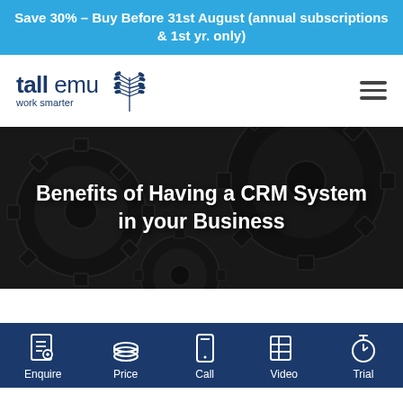Save 30% – Buy Before 31st August (annual subscriptions & 1st yr. only)
[Figure (logo): Tall Emu logo with emu leaf/feather icon and tagline 'work smarter']
[Figure (photo): Dark background photo of industrial metal gears interlocked]
Benefits of Having a CRM System in your Business
[Figure (infographic): Bottom navigation bar with five icons and labels: Enquire, Price, Call, Video, Trial]